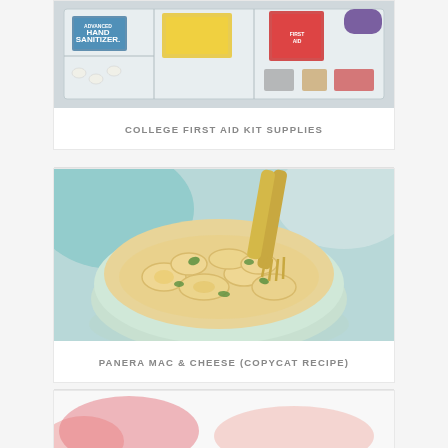[Figure (photo): First aid kit supplies including hand sanitizer packet, pills, and medical supplies in a plastic organizer tray]
COLLEGE FIRST AID KIT SUPPLIES
[Figure (photo): A bowl of mac and cheese pasta with a fork, garnished with parsley]
PANERA MAC & CHEESE (COPYCAT RECIPE)
[Figure (photo): Partially visible card with pink/coral colored elements at bottom of page]